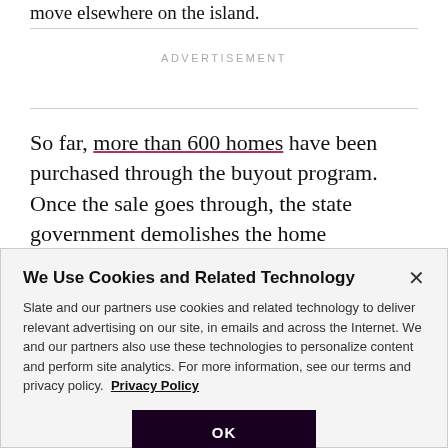move elsewhere on the island.
ADVERTISEMENT
So far, more than 600 homes have been purchased through the buyout program. Once the sale goes through, the state government demolishes the home
We Use Cookies and Related Technology
Slate and our partners use cookies and related technology to deliver relevant advertising on our site, in emails and across the Internet. We and our partners also use these technologies to personalize content and perform site analytics. For more information, see our terms and privacy policy. Privacy Policy
OK